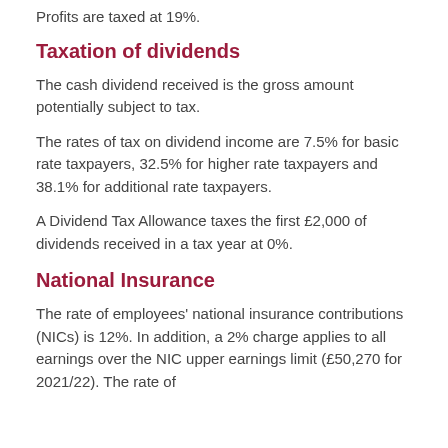Profits are taxed at 19%.
Taxation of dividends
The cash dividend received is the gross amount potentially subject to tax.
The rates of tax on dividend income are 7.5% for basic rate taxpayers, 32.5% for higher rate taxpayers and 38.1% for additional rate taxpayers.
A Dividend Tax Allowance taxes the first £2,000 of dividends received in a tax year at 0%.
National Insurance
The rate of employees' national insurance contributions (NICs) is 12%. In addition, a 2% charge applies to all earnings over the NIC upper earnings limit (£50,270 for 2021/22). The rate of